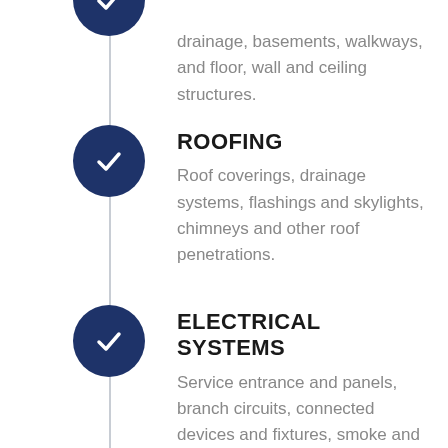drainage, basements, walkways, and floor, wall and ceiling structures.
ROOFING
Roof coverings, drainage systems, flashings and skylights, chimneys and other roof penetrations.
ELECTRICAL SYSTEMS
Service entrance and panels, branch circuits, connected devices and fixtures, smoke and carbon monoxide detectors, and making sure your outlets are